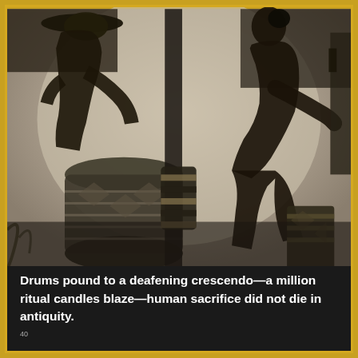[Figure (photo): Black and white photograph showing a drummer playing a large decorated drum on the left, wearing a hat, and a woman dancing on the right, both in silhouette-style lighting against a light background with ritual objects visible.]
Drums pound to a deafening crescendo—a million ritual candles blaze—human sacrifice did not die in antiquity.
40